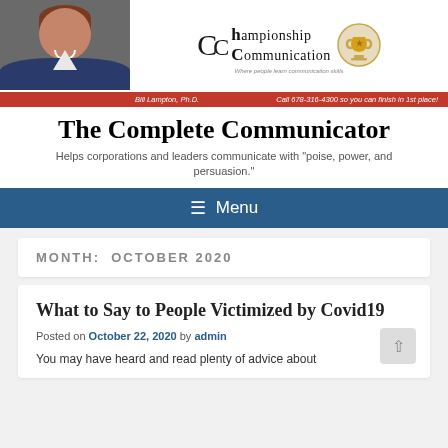[Figure (photo): Headshot of Bill Lampton, Ph.D., a man in a suit smiling, against gray background]
[Figure (logo): Championship Communication logo with trophy icon and circular tagline text]
Bill Lampton, Ph.D.   Call 678-316-4300 so you can finish in 1st place!
The Complete Communicator
Helps corporations and leaders communicate with "poise, power, and persuasion."
≡  Menu
MONTH: OCTOBER 2020
What to Say to People Victimized by Covid19
Posted on October 22, 2020 by admin
You may have heard and read plenty of advice about